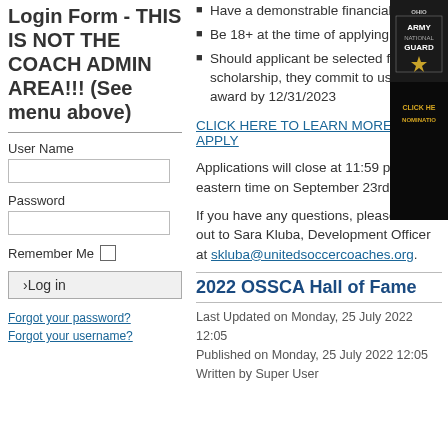Login Form - THIS IS NOT THE COACH ADMIN AREA!!! (See menu above)
User Name
Password
Remember Me
›Log in
Forgot your password? Forgot your username?
Have a demonstrable financial need
Be 18+ at the time of applying
Should applicant be selected for a scholarship, they commit to using the award by 12/31/2023
CLICK HERE TO LEARN MORE AND APPLY
Applications will close at 11:59 p.m. eastern time on September 23rd.
If you have any questions, please reach out to Sara Kluba, Development Officer at skluba@unitedsoccercoaches.org.
2022 OSSCA Hall of Fame
Last Updated on Monday, 25 July 2022 12:05
Published on Monday, 25 July 2022 12:05
Written by Super User
[Figure (other): Ohio Army National Guard advertisement banner with logo and CLICK HERE NOMINATIONS text]